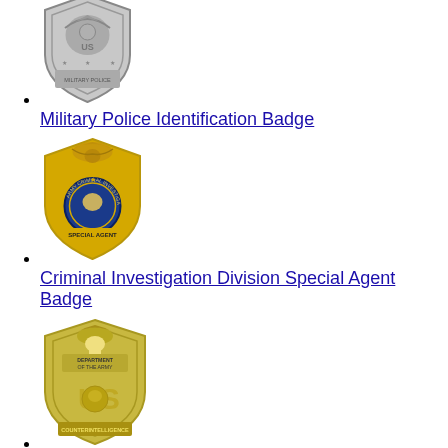[Figure (illustration): Military Police Identification Badge - silver/gray shield-shaped badge with US Army eagle insignia and 'Military Police' text]
Military Police Identification Badge
[Figure (illustration): Criminal Investigation Division Special Agent Badge - gold shield badge with eagle on top and blue circular center with 'Special Agent' text]
Criminal Investigation Division Special Agent Badge
[Figure (illustration): Counterintelligence Special Agent Badge - gold/brass shield badge with 'Department of The Army' and 'US Counterintelligence' text]
Counterintelligence Special Agent Badge
[Figure (illustration): Three military patches: 10th Mountain Division (blue/red X on black), 82nd Airborne Division (blue AA on white), 101st Airborne Division (eagle on black)]